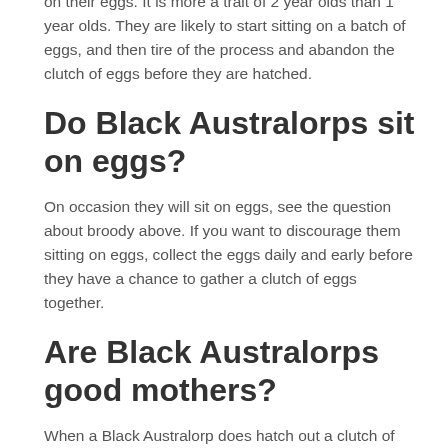on their eggs. It is more a trait of 2 year olds than 1 year olds. They are likely to start sitting on a batch of eggs, and then tire of the process and abandon the clutch of eggs before they are hatched.
Do Black Australorps sit on eggs?
On occasion they will sit on eggs, see the question about broody above. If you want to discourage them sitting on eggs, collect the eggs daily and early before they have a chance to gather a clutch of eggs together.
Are Black Australorps good mothers?
When a Black Australorp does hatch out a clutch of eggs, they make very good, attention mothers.
Are Black Australorps roosters loud?
Depends on what is loud? They are not nearly as loud as a passing train horn which is a minimum of 96db. Still they are appropriately loud enough to warn off intruders and give the hens the…